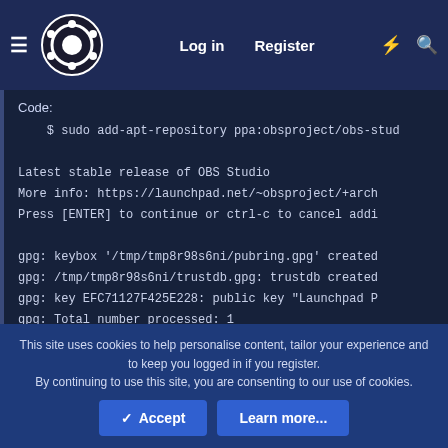Log in  Register
Code:
$ sudo add-apt-repository ppa:obsproject/obs-stud
Latest stable release of OBS Studio
More info: https://launchpad.net/~obsproject/+arch
Press [ENTER] to continue or ctrl-c to cancel addi
gpg: keybox '/tmp/tmp8r98s6ni/pubring.gpg' created
gpg: /tmp/tmp8r98s6ni/trustdb.gpg: trustdb created
gpg: key EFC71127F425E228: public key "Launchpad P
gpg: Total number processed: 1
This site uses cookies to help personalise content, tailor your experience and to keep you logged in if you register.
By continuing to use this site, you are consenting to our use of cookies.
✓ Accept   Learn more...